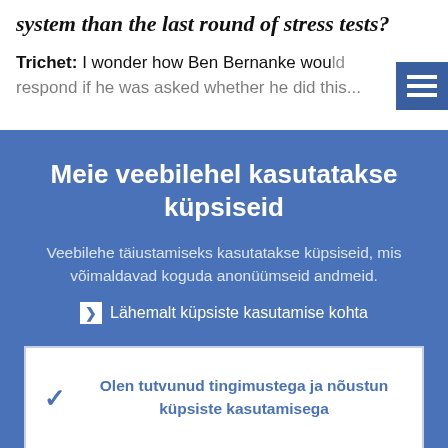system than the last round of stress tests?
Trichet: I wonder how Ben Bernanke would respond if he was asked whether he did this...
Meie veebilehel kasutatakse küpsiseid
Veebilehe täiustamiseks kasutatakse küpsiseid, mis võimaldavad koguda anonüümseid andmeid.
Lähemalt küpsiste kasutamise kohta
Olen tutvunud tingimustega ja nõustun küpsiste kasutamisega
Ei nõustu küpsiste kasutamisega